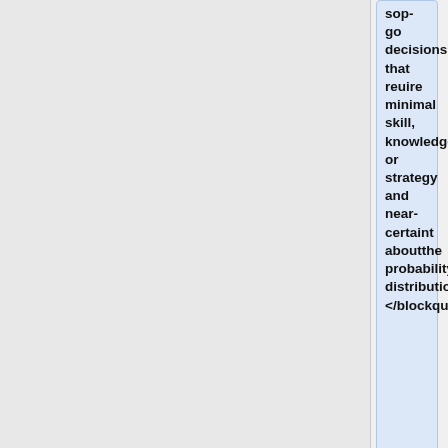sop-go decisions that reuire minimal skill, knowledge or strategy and near-certaint aboutthe probability distribution. </blockquote>
+
Here is a nice description of the game from the [http://www.ams.org/mathmedia/archive/02-2006-media.html#two A MS Math in the Media]
+